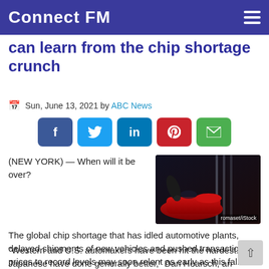Connect FM
can learn from the chip shortage crunch
Sun, June 13, 2021 by ABC News
[Figure (other): Social media share buttons: Facebook, Twitter, LinkedIn, Pinterest, Email]
(NEW YORK) — When will it be over?
[Figure (photo): Photo of a person in black gloves working on a red car in a showroom. Credit: romaset/iStock]
The global chip shortage that has idled automotive plants, delayed shipments of new vehicles and pushed transaction prices to record levels may soon relent as early as this fall. But the dramatic impact of the last 12 months could very well continue into 2022 and beyond.
“Western and U.S. automakers have been hit the hardest. The Japanese have done generally better,” Dan Hearsch, an analyst at Ali Partners, told ABC News. “Automakers can definitely be at